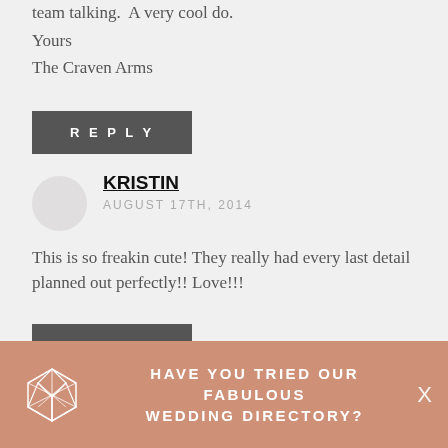team talking. A very cool do.
Yours
The Craven Arms
REPLY
KRISTIN
AUGUST 17TH, 2014
This is so freakin cute! They really had every last detail planned out perfectly!! Love!!!
REPLY
HAVE YOU TRIED OUR FABULOUS WEDDING DIRECTORY?